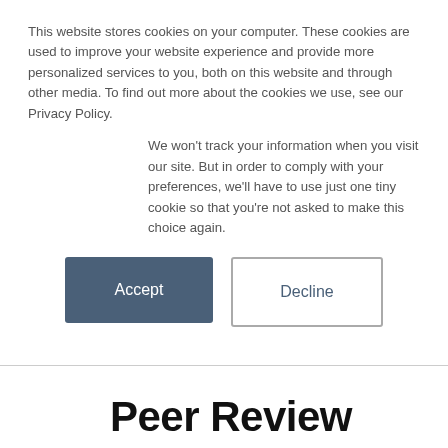This website stores cookies on your computer. These cookies are used to improve your website experience and provide more personalized services to you, both on this website and through other media. To find out more about the cookies we use, see our Privacy Policy.
We won't track your information when you visit our site. But in order to comply with your preferences, we'll have to use just one tiny cookie so that you're not asked to make this choice again.
[Figure (screenshot): Two buttons: 'Accept' (dark blue filled) and 'Decline' (white with border)]
Peer Review
Peer Review Statement, February, 2018
Peer review is an essential part of the publishing process at the MIT Press. Detailed evaluation by independent experts informs both the selection and